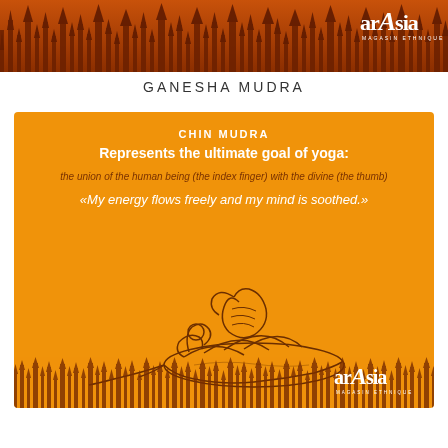[Figure (illustration): Top banner with silhouette of Asian temple spires in dark brown/orange tones, with arAsia Magasin Ethnique logo in top right corner]
GANESHA MUDRA
[Figure (illustration): Orange card showing hand gesture (Chin Mudra / Ganesha Mudra) illustration in brown line art on orange background, with text overlays: CHIN MUDRA, Represents the ultimate goal of yoga:, the union of the human being (the index finger) with the divine (the thumb), and quote My energy flows freely and my mind is soothed. Also includes bottom temple spire silhouette and arAsia logo.]